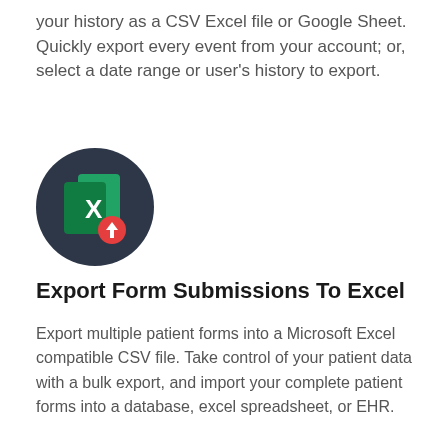your history as a CSV Excel file or Google Sheet. Quickly export every event from your account; or, select a date range or user's history to export.
[Figure (illustration): Dark circular icon containing a green Microsoft Excel logo with a white 'X', and a red circle with a white downward arrow in the bottom-right corner, representing export to Excel functionality.]
Export Form Submissions To Excel
Export multiple patient forms into a Microsoft Excel compatible CSV file. Take control of your patient data with a bulk export, and import your complete patient forms into a database, excel spreadsheet, or EHR.